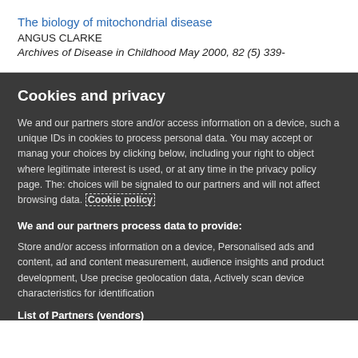The biology of mitochondrial disease
ANGUS CLARKE
Archives of Disease in Childhood May 2000, 82 (5) 339-
Cookies and privacy
We and our partners store and/or access information on a device, such as unique IDs in cookies to process personal data. You may accept or manage your choices by clicking below, including your right to object where legitimate interest is used, or at any time in the privacy policy page. These choices will be signaled to our partners and will not affect browsing data. Cookie policy
We and our partners process data to provide:
Store and/or access information on a device, Personalised ads and content, ad and content measurement, audience insights and product development, Use precise geolocation data, Actively scan device characteristics for identification
List of Partners (vendors)